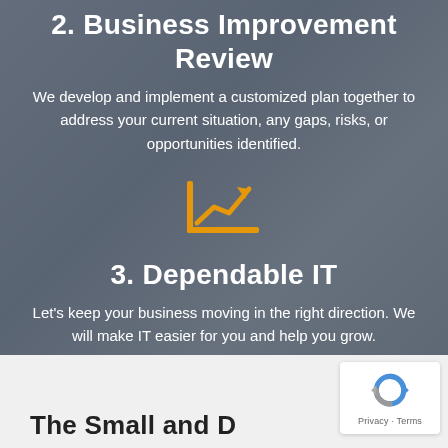2. Business Improvement Review
We develop and implement a customized plan together to address your current situation, any gaps, risks, or opportunities identified.
[Figure (illustration): Orange trending-up chart icon with an upward arrow line inside a bar-chart frame]
3. Dependable IT
Let's keep your business moving in the right direction. We will make IT easier for you and help you grow.
[Figure (logo): Google reCAPTCHA badge with logo, Privacy and Terms links]
The Small and D...